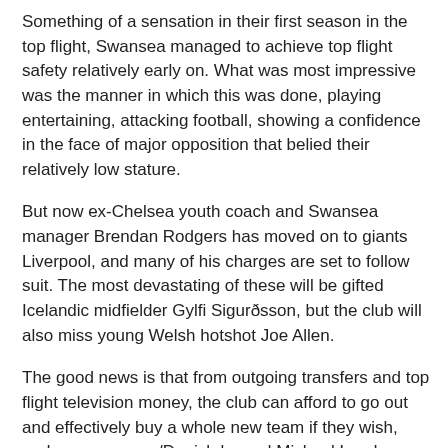Something of a sensation in their first season in the top flight, Swansea managed to achieve top flight safety relatively early on. What was most impressive was the manner in which this was done, playing entertaining, attacking football, showing a confidence in the face of major opposition that belied their relatively low stature.
But now ex-Chelsea youth coach and Swansea manager Brendan Rodgers has moved on to giants Liverpool, and many of his charges are set to follow suit. The most devastating of these will be gifted Icelandic midfielder Gylfi Sigurðsson, but the club will also miss young Welsh hotshot Joe Allen.
The good news is that from outgoing transfers and top flight television money, the club can afford to go out and effectively buy a whole new team if they wish, and new manager/Danish legend Michael Laudrup looks set to continue his predecessor's football philosophy. In particular the £2 million signing of Michu, who scored 15 goals in La Liga last season, appears to be something of a coup and some astoundingly good business.